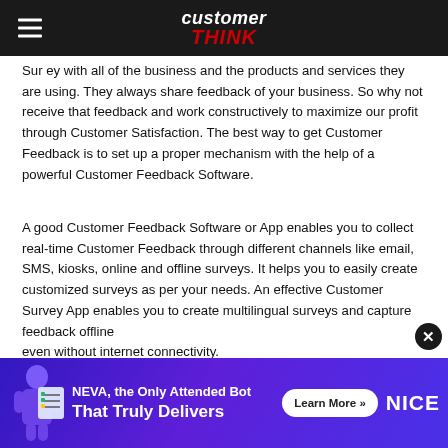customerTHINK
Sur ey with all of the business and the products and services they are using. They always share feedback of your business. So why not receive that feedback and work constructively to maximize our profit through Customer Satisfaction. The best way to get Customer Feedback is to set up a proper mechanism with the help of a powerful Customer Feedback Software.
A good Customer Feedback Software or App enables you to collect real-time Customer Feedback through different channels like email, SMS, kiosks, online and offline surveys. It helps you to easily create customized surveys as per your needs. An effective Customer Survey App enables you to create multilingual surveys and capture feedback offline even without internet connectivity.
[Figure (infographic): Advertisement banner for NEVA, the Only Attended Bot That Truly Delivers, from NICE. Purple gradient background with a figure holding a checklist, a Learn More button, and the NICE logo.]